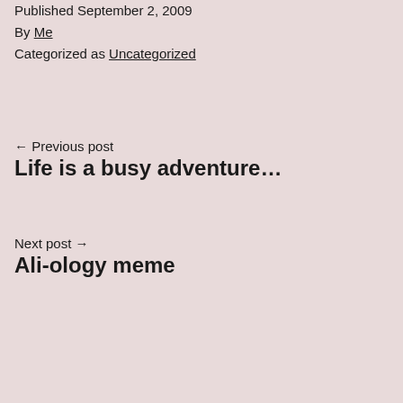Published September 2, 2009
By Me
Categorized as Uncategorized
← Previous post
Life is a busy adventure…
Next post →
Ali-ology meme